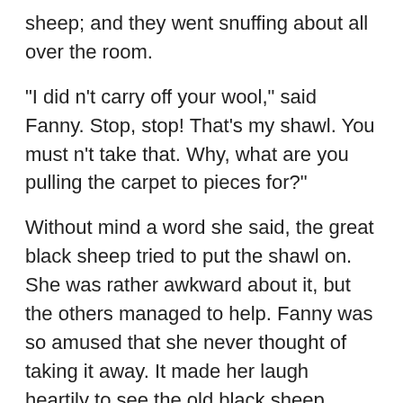sheep; and they went snuffing about all over the room.
“I did n’t carry off your wool,” said Fanny. Stop, stop! That’s my shawl. You must n’t take that. Why, what are you pulling the carpet to pieces for?”
Without mind a word she said, the great black sheep tried to put the shawl on. She was rather awkward about it, but the others managed to help. Fanny was so amused that she never thought of taking it away. It made her laugh heartily to see the old black sheep march about with the shawl on her shoulders, followed by all the others, with pieces of carpet folded over them. She thought to herself, “I wish mother could see them walking out of the front door in procession. I am sure she would think them regular thieves.”
Buzz, buzz, buzz! “What comes to the window now?” In